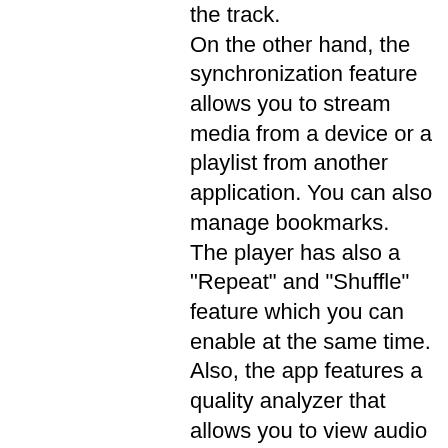the track.
On the other hand, the synchronization feature allows you to stream media from a device or a playlist from another application. You can also manage bookmarks.
The player has also a "Repeat" and "Shuffle" feature which you can enable at the same time.
Also, the app features a quality analyzer that allows you to view audio quality, bitrate, file size and more.
25 Comments
I've tried it and it is very simple and easy to use, I found the interface very clean. The only problem I encountered was it opened "Microsoft Foundation Classes" on every windows Media Player window and made it take twice as long as usual. Also, the sound quality did not seem any better than any other media player. Also, it crashed several times, one of them was everytime I accessed the Settings menu. Other than that, I had no